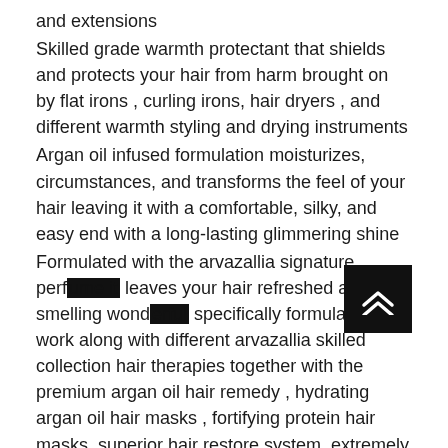and extensions
Skilled grade warmth protectant that shields and protects your hair from harm brought on by flat irons , curling irons, hair dryers , and different warmth styling and drying instruments
Argan oil infused formulation moisturizes, circumstances, and transforms the feel of your hair leaving it with a comfortable, silky, and easy end with a long-lasting glimmering shine
Formulated with the arvazallia signature perfu… leaves your hair refreshed and smelling wond… specifically formulated to work along with different arvazallia skilled collection hair therapies together with the premium argan oil hair remedy , hydrating argan oil hair masks , fortifying protein hair masks, superior hair restore system, extremely curl defining cream and the…